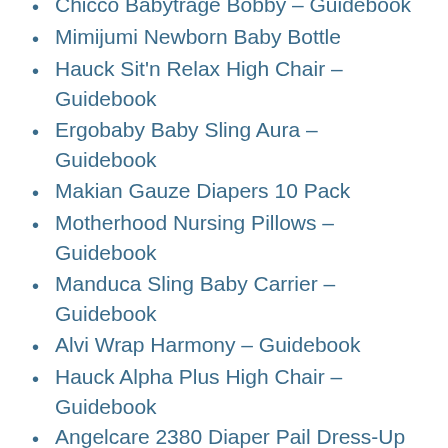Chicco Babytrage Bobby – Guidebook
Mimijumi Newborn Baby Bottle
Hauck Sit'n Relax High Chair – Guidebook
Ergobaby Baby Sling Aura – Guidebook
Makian Gauze Diapers 10 Pack
Motherhood Nursing Pillows – Guidebook
Manduca Sling Baby Carrier – Guidebook
Alvi Wrap Harmony – Guidebook
Hauck Alpha Plus High Chair – Guidebook
Angelcare 2380 Diaper Pail Dress-Up XL – Guidebook
Marsupi Baby Carrier
2 NUK Vaporisator 2 In 1 – Guidebook
ComfortBaby SmartGrow – Guidebook
Footmuff Pebble – Guidebook
Nip Pacifier Cherry – Guidebook